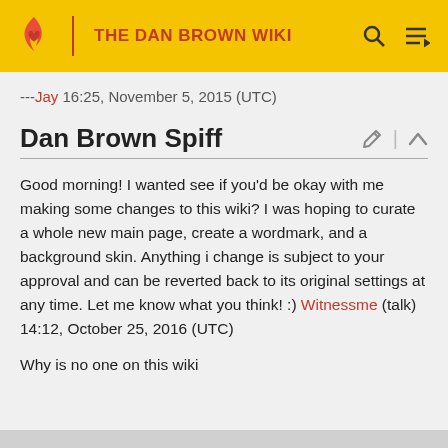THE DAN BROWN WIKI
---Jay 16:25, November 5, 2015 (UTC)
Dan Brown Spiff
Good morning! I wanted see if you'd be okay with me making some changes to this wiki? I was hoping to curate a whole new main page, create a wordmark, and a background skin. Anything i change is subject to your approval and can be reverted back to its original settings at any time. Let me know what you think! :) Witnessme (talk) 14:12, October 25, 2016 (UTC)
Why is no one on this wiki